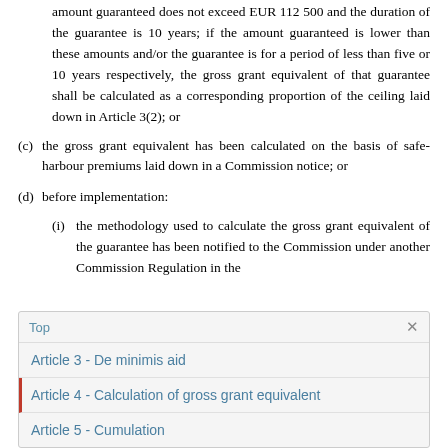amount guaranteed does not exceed EUR 112 500 and the duration of the guarantee is 10 years; if the amount guaranteed is lower than these amounts and/or the guarantee is for a period of less than five or 10 years respectively, the gross grant equivalent of that guarantee shall be calculated as a corresponding proportion of the ceiling laid down in Article 3(2); or
(c)the gross grant equivalent has been calculated on the basis of safe-harbour premiums laid down in a Commission notice; or
(d)before implementation:
(i)the methodology used to calculate the gross grant equivalent of the guarantee has been notified to the Commission under another Commission Regulation in the
Top
Article 3 - De minimis aid
Article 4 - Calculation of gross grant equivalent
Article 5 - Cumulation